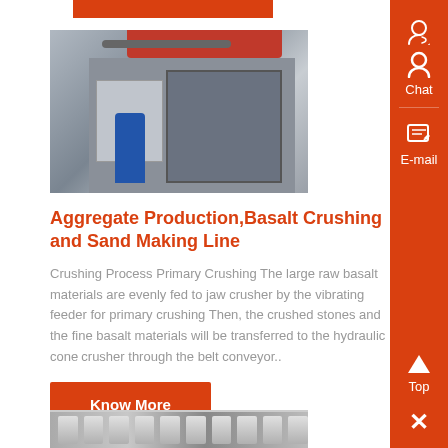[Figure (photo): Industrial machine/crusher equipment in a factory setting, with a worker in blue near large grey machinery and red overhead components]
Aggregate Production,Basalt Crushing and Sand Making Line
Crushing Process Primary Crushing The large raw basalt materials are evenly fed to jaw crusher by the vibrating feeder for primary crushing Then, the crushed stones and the fine basalt materials will be transferred to the hydraulic cone crusher through the belt conveyor..
Know More
[Figure (photo): Bottom strip showing industrial equipment or conveyor machinery]